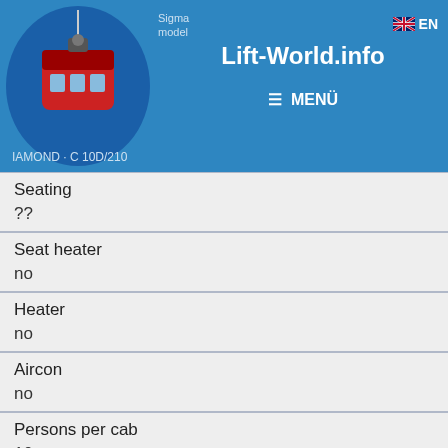Lift-World.info | MENÜ | EN
| Property | Value |
| --- | --- |
| Seating | ?? |
| Seat heater | no |
| Heater | no |
| Aircon | no |
| Persons per cab | 10 |
| Number of cabs | 188 Stk |